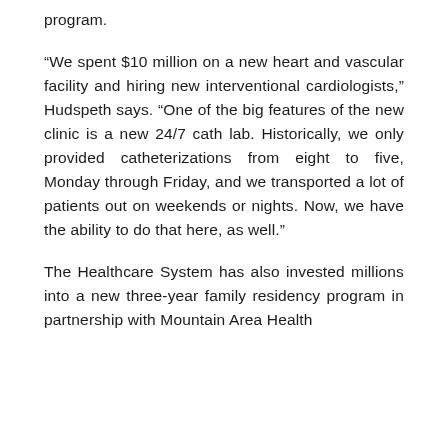program.
“We spent $10 million on a new heart and vascular facility and hiring new interventional cardiologists,” Hudspeth says. “One of the big features of the new clinic is a new 24/7 cath lab. Historically, we only provided catheterizations from eight to five, Monday through Friday, and we transported a lot of patients out on weekends or nights. Now, we have the ability to do that here, as well.”
The Healthcare System has also invested millions into a new three-year family residency program in partnership with Mountain Area Health